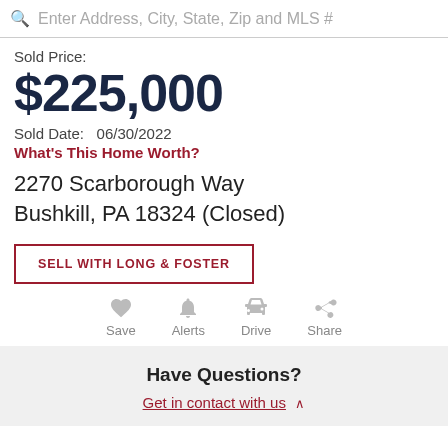Enter Address, City, State, Zip and MLS #
Sold Price:
$225,000
Sold Date:  06/30/2022
What's This Home Worth?
2270 Scarborough Way
Bushkill, PA 18324 (Closed)
SELL WITH LONG & FOSTER
Save  Alerts  Drive  Share
Have Questions?
Get in contact with us